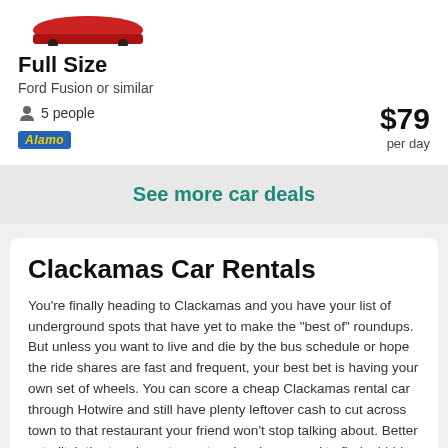[Figure (photo): Partial view of a red car (top portion visible)]
Full Size
Ford Fusion or similar
5 people    $79 per day
[Figure (logo): Alamo rental car logo badge]
See more car deals
Clackamas Car Rentals
You’re finally heading to Clackamas and you have your list of underground spots that have yet to make the “best of” roundups. But unless you want to live and die by the bus schedule or hope the ride shares are fast and frequent, your best bet is having your own set of wheels. You can score a cheap Clackamas rental car through Hotwire and still have plenty leftover cash to cut across town to that restaurant your friend won’t stop talking about. Better yet, ditch the trendy restaurant and cruise around to find a hidden hot spot that isn’t on everyone’s social feed…at least not yet.